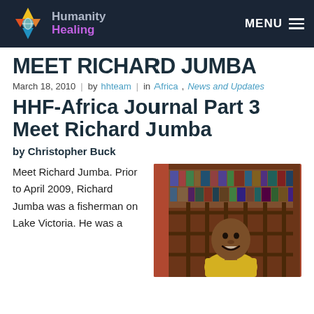Humanity Healing — MENU
MEET RICHARD JUMBA
March 18, 2010 | by hhteam | in Africa, News and Updates
HHF-Africa Journal Part 3 Meet Richard Jumba
by Christopher Buck
Meet Richard Jumba. Prior to April 2009, Richard Jumba was a fisherman on Lake Victoria. He was a
[Figure (photo): A person smiling behind wooden bars/window of a building with red/brown wall]